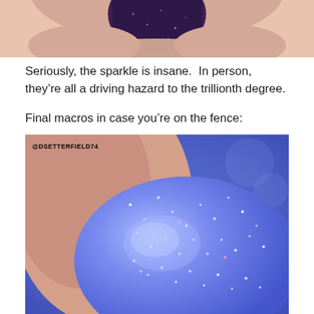[Figure (photo): Close-up macro photo of a fingertip with sparkly purple/dark glitter nail polish against a light background]
Seriously, the sparkle is insane.  In person, they’re all a driving hazard to the trillionth degree.
Final macros in case you’re on the fence:
[Figure (photo): Extreme close-up macro photo of a fingernail covered in sparkling holographic blue/purple glitter nail polish, with watermark @DSETTERFIELD74 in upper left corner, blue bokeh background]